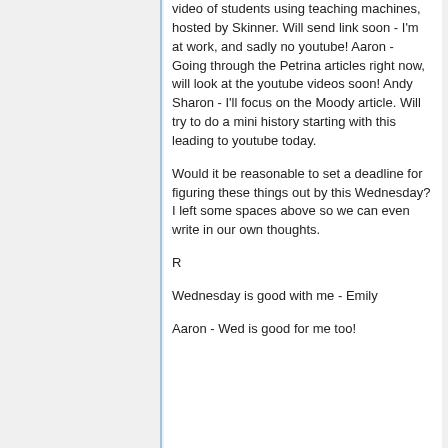video of students using teaching machines, hosted by Skinner. Will send link soon - I'm at work, and sadly no youtube! Aaron - Going through the Petrina articles right now, will look at the youtube videos soon! Andy Sharon - I'll focus on the Moody article. Will try to do a mini history starting with this leading to youtube today.
Would it be reasonable to set a deadline for figuring these things out by this Wednesday? I left some spaces above so we can even write in our own thoughts.
R
Wednesday is good with me - Emily
Aaron - Wed is good for me too!